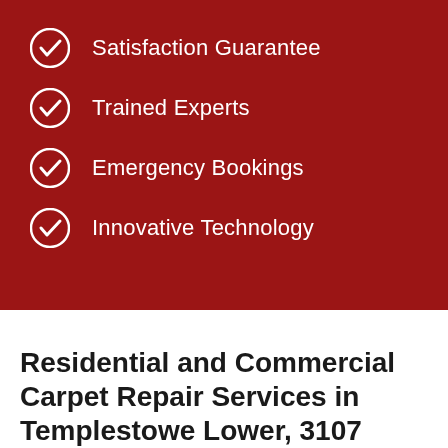Satisfaction Guarantee
Trained Experts
Emergency Bookings
Innovative Technology
Residential and Commercial Carpet Repair Services in Templestowe Lower, 3107